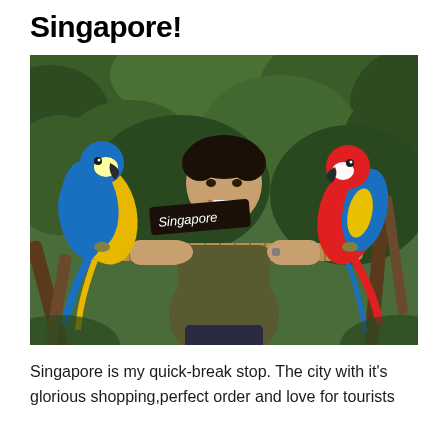Singapore!
[Figure (photo): A smiling man holding a wooden perch rod with a blue-and-yellow macaw on the left and a red-and-green scarlet macaw on the right, in a lush tropical garden setting. A sign reading 'Singapore' is visible in the background.]
Singapore is my quick-break stop. The city with it's glorious shopping,perfect order and love for tourists